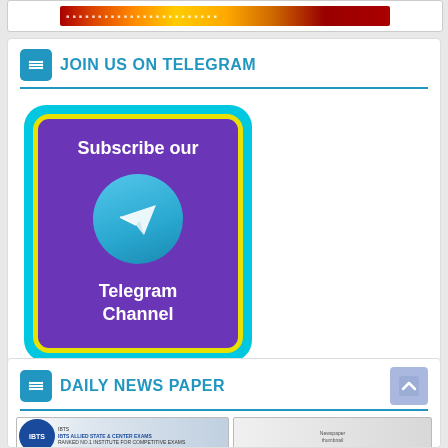[Figure (screenshot): Top partial banner image with colorful gradient content]
JOIN US ON TELEGRAM
[Figure (illustration): Telegram channel subscription card: purple rounded rectangle with yellow border and cyan outer border, showing 'Subscribe our Telegram Channel' text and Telegram logo]
DAILY NEWS PAPER
[Figure (screenshot): Daily news paper images showing IBTS logo and newspaper thumbnails]